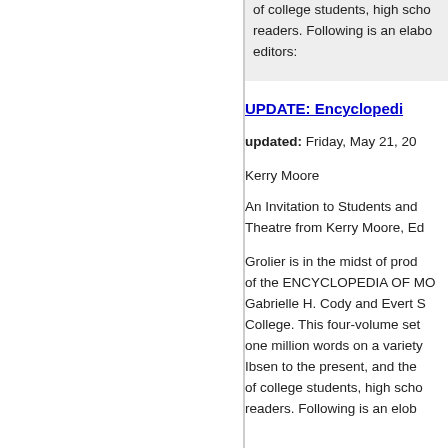of college students, high scho readers. Following is an elabo editors:
UPDATE: Encyclopedi
updated: Friday, May 21, 20 Kerry Moore
An Invitation to Students and Theatre from Kerry Moore, Ed
Grolier is in the midst of prod of the ENCYCLOPEDIA OF MO Gabrielle H. Cody and Evert S College. This four-volume set one million words on a variety Ibsen to the present, and the of college students, high scho readers. Following is an elab